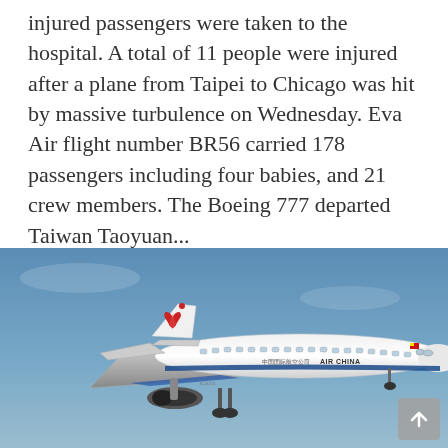injured passengers were taken to the hospital. A total of 11 people were injured after a plane from Taipei to Chicago was hit by massive turbulence on Wednesday. Eva Air flight number BR56 carried 178 passengers including four babies, and 21 crew members. The Boeing 777 departed Taiwan Taoyuan...
[Figure (photo): Air China passenger aircraft (Airbus A330) in flight against a blue sky, showing red phoenix logo on tail, blue stripe along fuselage, and Air China livery. Aircraft landing gear is deployed.]